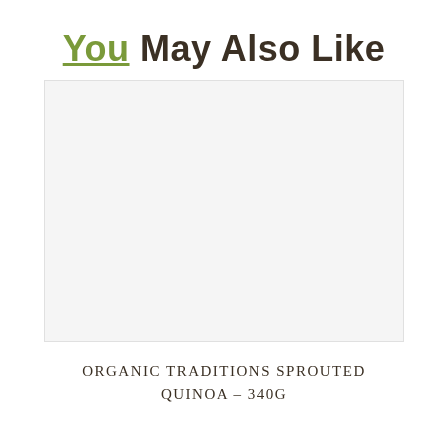You May Also Like
[Figure (photo): Product image placeholder — white/light grey blank rectangle representing a product photo]
ORGANIC TRADITIONS SPROUTED QUINOA – 340G